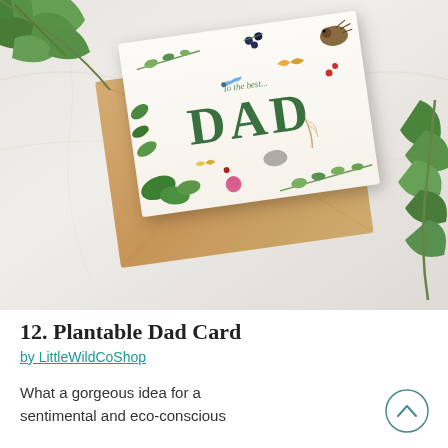[Figure (photo): A plantable greeting card with botanical nature illustrations (leaves, insects, berries, hedgehog) reading 'To the best... DAD' in green text, placed on a kraft brown envelope on a white marble surface, with ivy leaves scattered around]
12. Plantable Dad Card
by LittleWildCoShop
What a gorgeous idea for a sentimental and eco-conscious